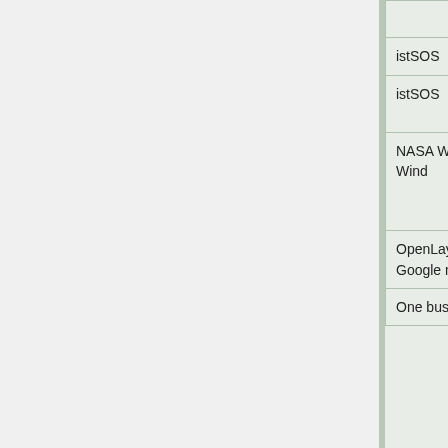| Project | Topic | Student |
| --- | --- | --- |
|  | client | FlorinDaniel |
| istSOS | istSOS Web API | Luka Glušica |
| istSOS | VistSOS: the istSOS Data Visualization Framework | Felipe Poveda |
| NASA World Wind | NASA Web World Wind - Multidimensional Visualization Tool for Environmental Variables | Gabriele Prestifilippo |
| OpenLayers3 - Google maps | OGC protocols support within OL3-Google-Maps | Samuel Lapointe |
| One bus Away | One bus Away Quick start | Brendan Egan |